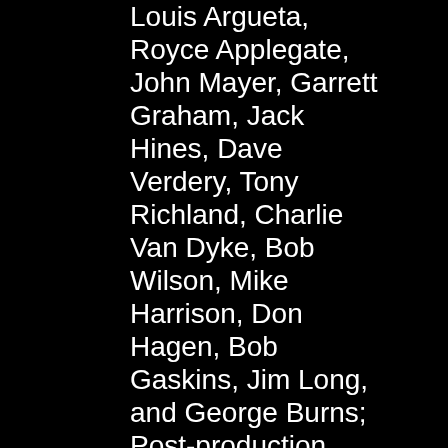Louis Argueta, Royce Applegate, John Mayer, Garrett Graham, Jack Hines, Dave Verdery, Tony Richland, Charlie Van Dyke, Bob Wilson, Mike Harrison, Don Hagen, Bob Gaskins, Jim Long, and George Burns; Post-production editing, mixing, MOOG and special effects: Ken Justiss; Special sound effects: Ron Harris; Recorded at Watermark Studios Lost Angles, Engineer Lee Hansen, and TM